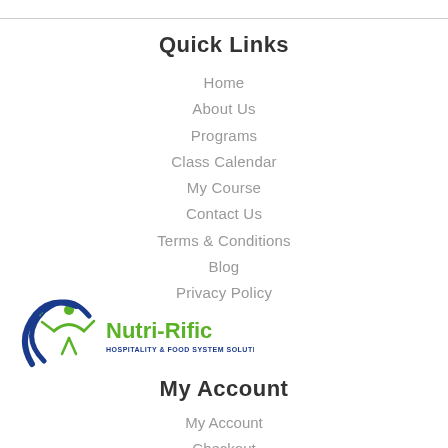Quick Links
Home
About Us
Programs
Class Calendar
My Course
Contact Us
Terms & Conditions
Blog
Privacy Policy
[Figure (logo): Nutri-Rific Hospitality & Food System Solutions logo with a human figure and fork graphic in green and blue]
My Account
My Account
Checkout